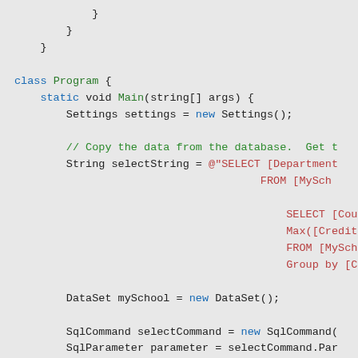Code snippet showing C# class Program with Main method, database query, and DataSet/SqlCommand setup